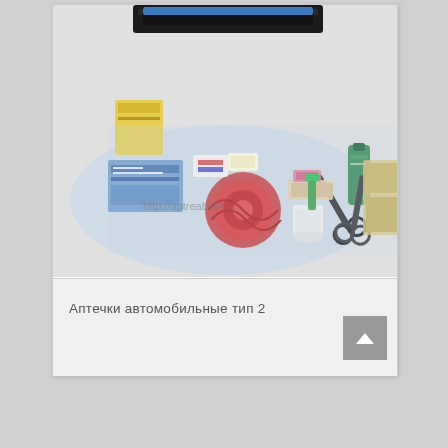[Figure (photo): Photo of an automotive first aid kit type 2 (Аптечки автомобильные тип 2). Items are displayed spread out showing various medical supplies in clear plastic packaging including bandages, gauze, scissors, adhesive bandages, and other first aid items, with a black case/lid visible at the top. A watermark URL is visible across the image.]
Аптечки автомобильные тип 2